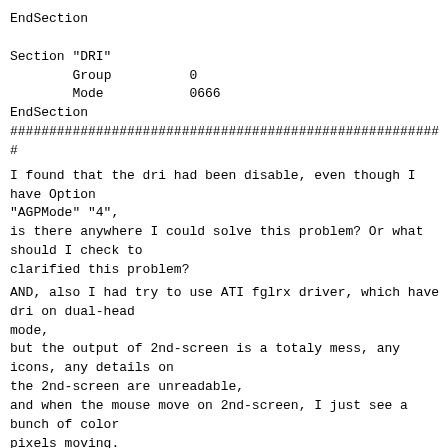EndSection

Section "DRI"
        Group          0
        Mode           0666
EndSection
################################################################################
I found that the dri had been disable, even though I have Option
"AGPMode" "4",
is there anywhere I could solve this problem? Or what should I check to
clarified this problem?
AND, also I had try to use ATI fglrx driver, which have dri on dual-head
mode,
but the output of 2nd-screen is a totaly mess, any icons, any details on
the 2nd-screen are unreadable,
and when the mouse move on 2nd-screen, I just see a bunch of color
pixels moving.
The xorg.conf is configured by fglrxconfig.
Clone-mode on both driver do have dri, but too bad, I don't know how to
let 1st-screen with 1400x1050
while 2nd-screen at 1024x768.